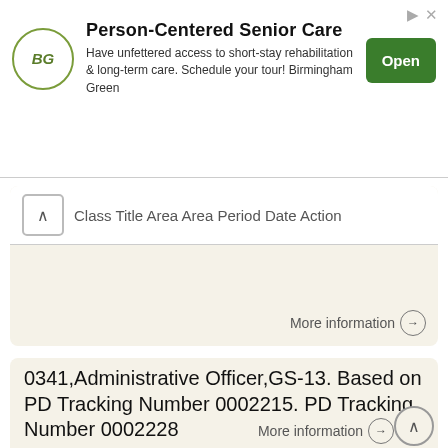[Figure (other): Advertisement banner for Birmingham Green: Person-Centered Senior Care with logo, text, and Open button]
Class Title Area Area Period Date Action
More information →
0341,Administrative Officer,GS-13. Based on PD Tracking Number 0002215. PD Tracking Number 0002228
0341,Administrative Officer,GS-13 Based on PD Tracking Number 0002215 PD Tracking Number 0002228 Note: This standardized position description was jointly developed by bureau administrative managers and
More information →